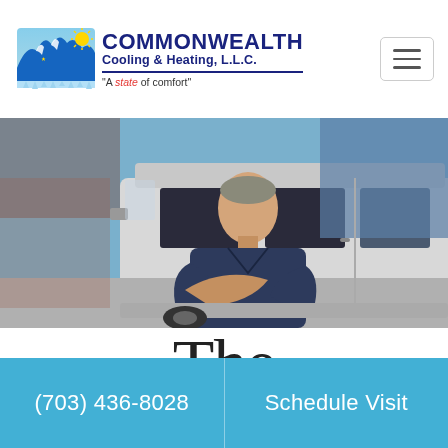[Figure (logo): Commonwealth Cooling & Heating, LLC logo with Virginia state shape, sun, and stars icon. Tagline: 'A state of comfort']
[Figure (photo): HVAC technician in navy blue uniform standing with arms crossed in front of a white work van, smiling at the camera.]
The
(703) 436-8028
Schedule Visit